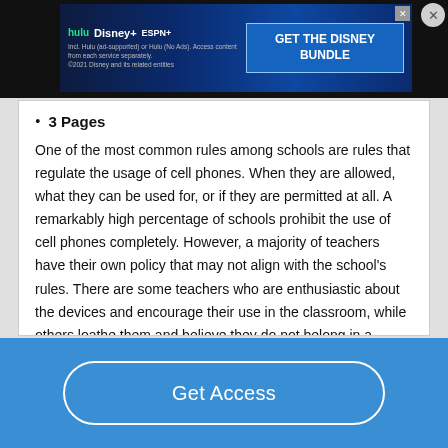[Figure (screenshot): Disney Bundle advertisement banner with Hulu, Disney+, and ESPN+ logos and 'GET THE DISNEY BUNDLE' call to action button]
3 Pages
One of the most common rules among schools are rules that regulate the usage of cell phones. When they are allowed, what they can be used for, or if they are permitted at all. A remarkably high percentage of schools prohibit the use of cell phones completely. However, a majority of teachers have their own policy that may not align with the school's rules. There are some teachers who are enthusiastic about the devices and encourage their use in the classroom, while others loathe them and believe they do not belong in a classroom setting….
Get Access